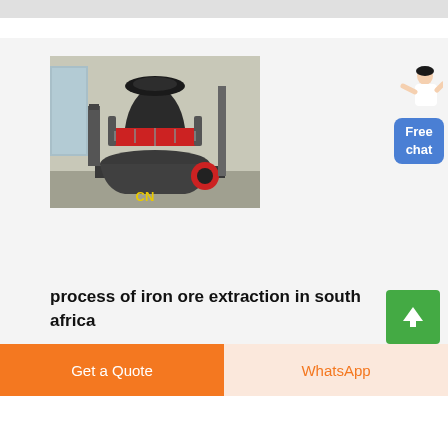[Figure (photo): Industrial cone crusher machine with red ring and CN logo, black and grey machinery on a platform in a warehouse setting]
process of iron ore extraction in south africa
Free chat
Get a Quote
WhatsApp